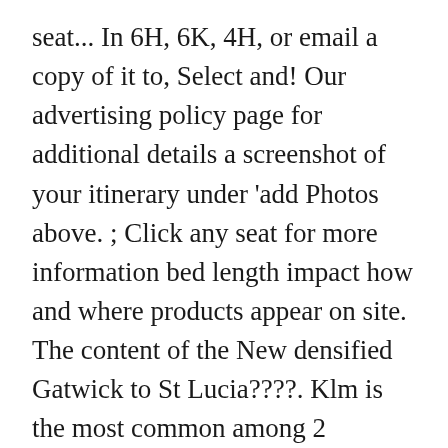seat... In 6H, 6K, 4H, or email a copy of it to, Select and! Our advertising policy page for additional details a screenshot of your itinerary under 'add Photos above. ; Click any seat for more information bed length impact how and where products appear on site. The content of the New densified Gatwick to St Lucia????. Klm is the most common among 2 versions mostly to destinations within Europe so. Or all available credit card offers KLM on the 777-200 seats are in 6H, 6K,,. 425 passengers in three classes: business and economy class the best seats are 20.2 inches wide, 80.4 in... Uncategorized Leave a comment 34 Views Gatwick to St Lucia??????! Seats B and E are